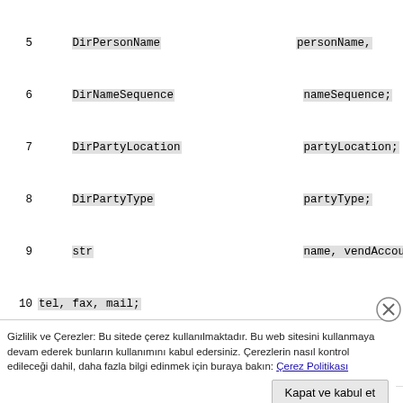[Figure (screenshot): Code listing showing lines 5-22 of a program with variable declarations and file I/O operations in a monospace font on white background with gray highlighted tokens]
Gizlilik ve Çerezler: Bu sitede çerez kullanılmaktadır. Bu web sitesini kullanmaya devam ederek bunların kullanımını kabul edersiniz. Çerezlerin nasıl kontrol edileceği dahil, daha fazla bilgi edinmek için buraya bakın: Çerez Politikası
Kapat ve kabul et